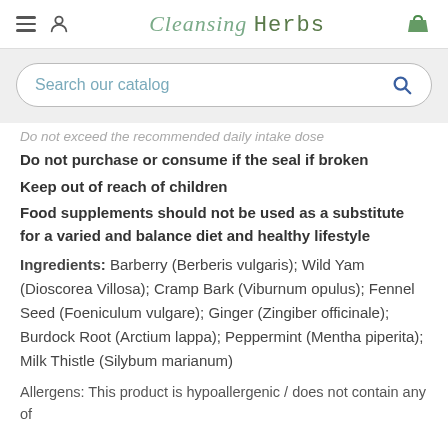Cleansing Herbs
Search our catalog
Do not exceed the recommended daily intake dose
Do not purchase or consume if the seal if broken
Keep out of reach of children
Food supplements should not be used as a substitute for a varied and balance diet and healthy lifestyle
Ingredients: Barberry (Berberis vulgaris); Wild Yam (Dioscorea Villosa); Cramp Bark (Viburnum opulus); Fennel Seed (Foeniculum vulgare); Ginger (Zingiber officinale); Burdock Root (Arctium lappa); Peppermint (Mentha piperita); Milk Thistle (Silybum marianum)
Allergens: This product is hypoallergenic / does not contain any of